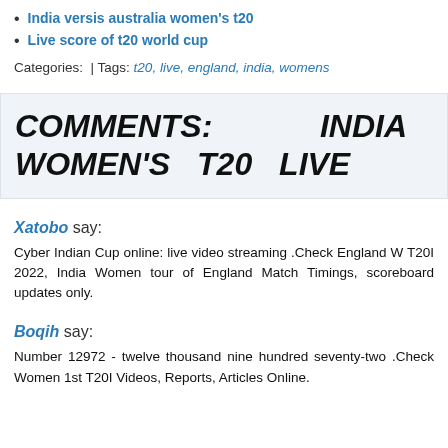India versis australia women's t20
Live score of t20 world cup
Categories:  | Tags: t20, live, england, india, womens
COMMENTS:  INDIA  VS WOMEN'S T20 LIVE
Xatobo say:
Cyber Indian Cup online: live video streaming .Check England W T20I 2022, India Women tour of England Match Timings, scoreboard updates only.
Boqih say:
Number 12972 - twelve thousand nine hundred seventy-two .Check Women 1st T20I Videos, Reports, Articles Online.